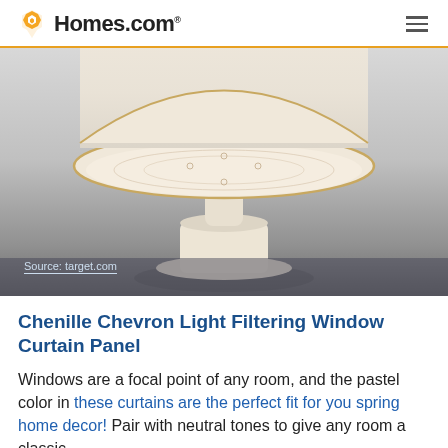Homes.com
[Figure (photo): A cream/beige ceramic cake stand or pedestal dish with embossed floral pattern and gold-trim rim, photographed on a grey gradient background. Source: target.com label at bottom left.]
Source: target.com
Chenille Chevron Light Filtering Window Curtain Panel
Windows are a focal point of any room, and the pastel color in these curtains are the perfect fit for you spring home decor! Pair with neutral tones to give any room a classic,